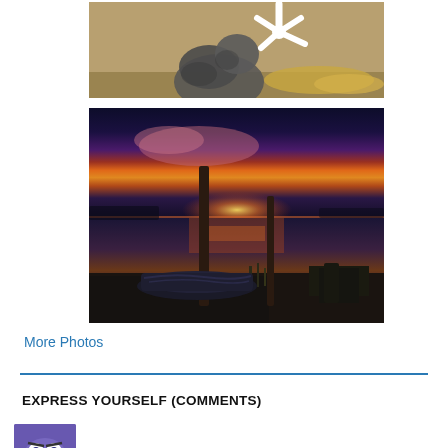[Figure (photo): Partial view of an otter or similar animal with a white starfish or sea creature on a rocky/weedy beach background, cropped at top]
[Figure (photo): Dramatic sunset over a calm lake or river with two wooden posts and a covered boat on the shore, vivid orange and purple sky reflected in water]
More Photos
EXPRESS YOURSELF (COMMENTS)
Raj Lalwani on India – The Parso Gidwan...
Darashikoh on Parchan Shaal Panvar Dhola